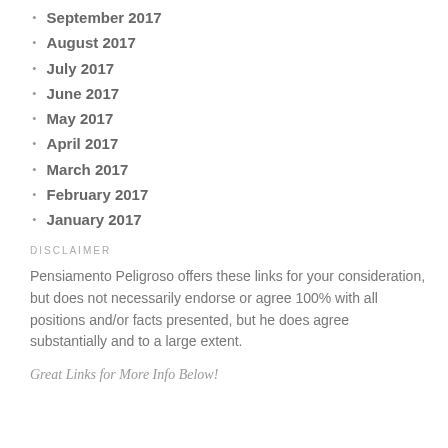September 2017
August 2017
July 2017
June 2017
May 2017
April 2017
March 2017
February 2017
January 2017
DISCLAIMER
Pensiamento Peligroso offers these links for your consideration, but does not necessarily endorse or agree 100% with all positions and/or facts presented, but he does agree substantially and to a large extent.
Great Links for More Info Below!